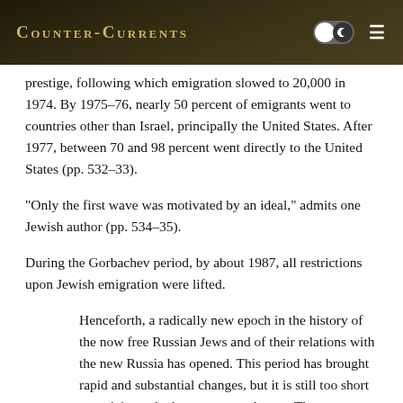Counter-Currents
prestige, following which emigration slowed to 20,000 in 1974. By 1975–76, nearly 50 percent of emigrants went to countries other than Israel, principally the United States. After 1977, between 70 and 98 percent went directly to the United States (pp. 532–33).
“Only the first wave was motivated by an ideal,” admits one Jewish author (pp. 534–35).
During the Gorbachev period, by about 1987, all restrictions upon Jewish emigration were lifted.
Henceforth, a radically new epoch in the history of the now free Russian Jews and of their relations with the new Russia has opened. This period has brought rapid and substantial changes, but it is still too short to anticipate the long-term results. . . . The development of this new theme would go beyond the span of life